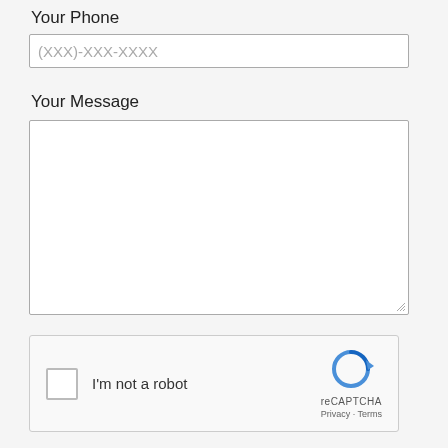Your Phone
[Figure (screenshot): Phone number input field with placeholder text (XXX)-XXX-XXXX]
Your Message
[Figure (screenshot): Large empty textarea for message input with resize handle]
[Figure (screenshot): reCAPTCHA widget with checkbox labeled I'm not a robot and reCAPTCHA logo with Privacy and Terms links]
[Figure (screenshot): Send button]